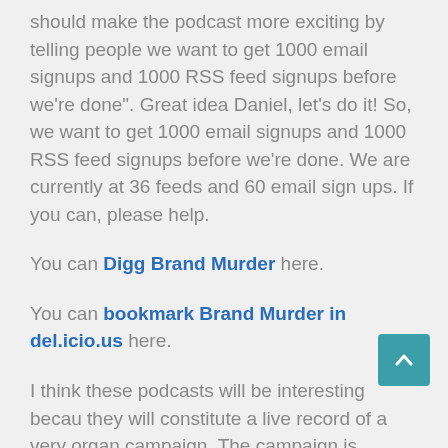should make the podcast more exciting by telling people we want to get 1000 email signups and 1000 RSS feed signups before we're done". Great idea Daniel, let's do it! So, we want to get 1000 email signups and 1000 RSS feed signups before we're done. We are currently at 36 feeds and 60 email sign ups. If you can, please help.
You can Digg Brand Murder here.
You can bookmark Brand Murder in del.icio.us here.
I think these podcasts will be interesting because they will constitute a live record of a very organ campaign. The campaign is founded in sound business principles which we will share in the